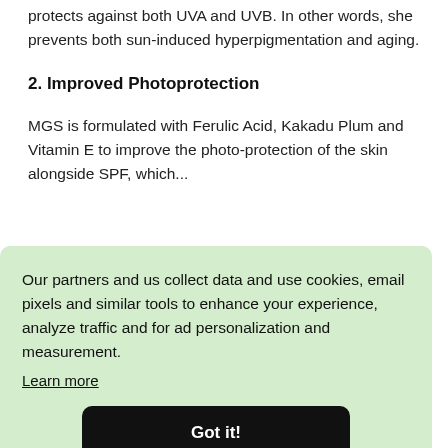protects against both UVA and UVB. In other words, she prevents both sun-induced hyperpigmentation and aging.
2. Improved Photoprotection
MGS is formulated with Ferulic Acid, Kakadu Plum and Vitamin E to improve the photo-protection of the skin alongside SPF, which...
Our partners and us collect data and use cookies, email pixels and similar tools to enhance your experience, analyze traffic and for ad personalization and measurement.
Learn more
Got it!
ingredients like Niacinamide, Tea Tree and